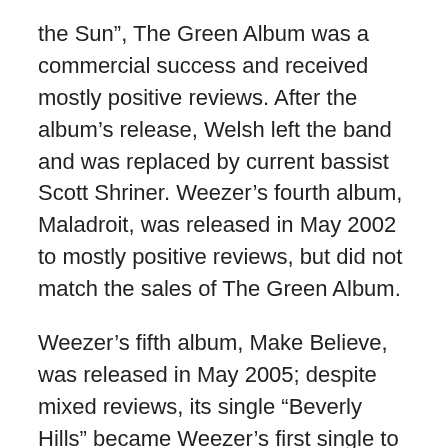the Sun”, The Green Album was a commercial success and received mostly positive reviews. After the album’s release, Welsh left the band and was replaced by current bassist Scott Shriner. Weezer’s fourth album, Maladroit, was released in May 2002 to mostly positive reviews, but did not match the sales of The Green Album.
Weezer’s fifth album, Make Believe, was released in May 2005; despite mixed reviews, its single “Beverly Hills” became Weezer’s first single to top the US Modern Rock Tracks chart and the first to reach the top ten on the Billboard Hot 100. In June 2008, Weezer’s third self-titled album, also known as The Red Album, featuring “TR-808s, synths, Southern rap, and baroque counterpoint”, was released to mild reviews.[3] Its lead single, “Pork and Beans”, became the band’s third song to top the Modern Rock Tracks chart, backed by a successful YouTube music